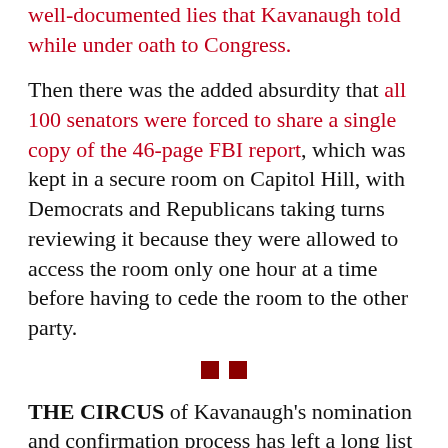well-documented lies that Kavanaugh told while under oath to Congress.
Then there was the added absurdity that all 100 senators were forced to share a single copy of the 46-page FBI report, which was kept in a secure room on Capitol Hill, with Democrats and Republicans taking turns reviewing it because they were allowed to access the room only one hour at a time before having to cede the room to the other party.
THE CIRCUS of Kavanaugh's nomination and confirmation process has left a long list of politicians and pundits worthy of scorn.
Right at the top is Maine Republican Sen. Susan Collins who, after vacillating on whether she would vote to confirm (despite claiming to be a moderate in support of a woman's right to choose), came down